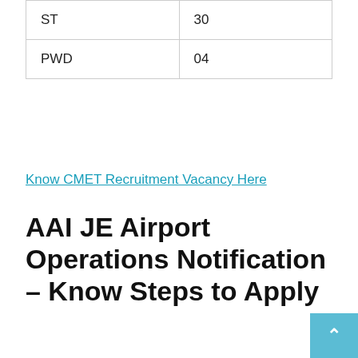| ST | 30 |
| PWD | 04 |
Know CMET Recruitment Vacancy Here
AAI JE Airport Operations Notification – Know Steps to Apply
Step 1 – Candidates are required to go to the official website of AAI, aai.aero.
Step 2 – On the homepage, the candidate must go to the left-hand side of the screen and choose the